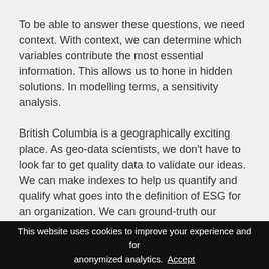To be able to answer these questions, we need context. With context, we can determine which variables contribute the most essential information. This allows us to hone in hidden solutions. In modelling terms, a sensitivity analysis.
British Columbia is a geographically exciting place. As geo-data scientists, we don't have to look far to get quality data to validate our ideas. We can make indexes to help us quantify and qualify what goes into the definition of ESG for an organization. We can ground-truth our assumptions and ensure that the resulting approaches and results are valid for the appropriate use cases.
This website uses cookies to improve your experience and for anonymized analytics. Accept